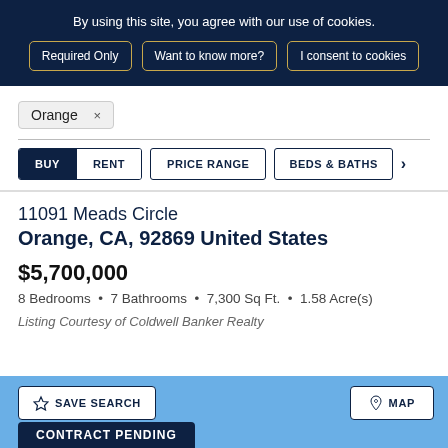By using this site, you agree with our use of cookies.
Required Only | Want to know more? | I consent to cookies
Orange ×
BUY  RENT  PRICE RANGE  BEDS & BATHS  >
11091 Meads Circle
Orange, CA, 92869 United States
$5,700,000
8 Bedrooms • 7 Bathrooms • 7,300 Sq Ft. • 1.58 Acre(s)
Listing Courtesy of Coldwell Banker Realty
SAVE SEARCH
MAP
CONTRACT PENDING